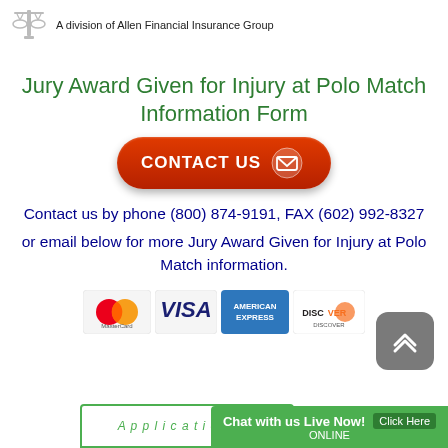A division of Allen Financial Insurance Group
Jury Award Given for Injury at Polo Match Information Form
[Figure (other): Red contact us button with envelope icon]
Contact us by phone (800) 874-9191, FAX (602) 992-8327
or email below for more Jury Award Given for Injury at Polo Match information.
[Figure (other): Payment card logos: MasterCard, VISA, American Express, Discover]
[Figure (other): Grey scroll-to-top button with double chevron up arrow]
[Figure (other): Green chat bar: Chat with us Live Now! Click Here ONLINE]
[Figure (other): Green-bordered Application button at bottom]